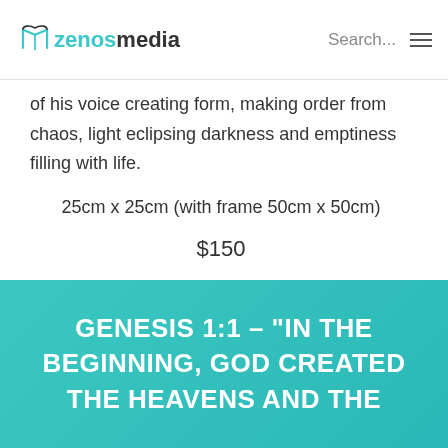zenosmedia | Search...
of his voice creating form, making order from chaos, light eclipsing darkness and emptiness filling with life.
25cm x 25cm (with frame 50cm x 50cm)
$150
GENESIS 1:1 – "IN THE BEGINNING, GOD CREATED THE HEAVENS AND THE